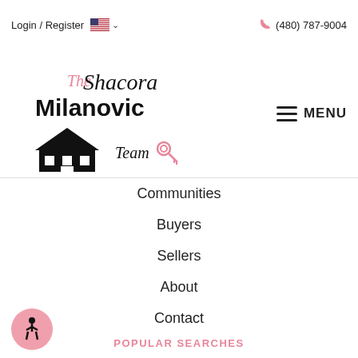Login / Register  🇺🇸 ▾   (480) 787-9004
[Figure (logo): The Shacora Milanovic Team real estate logo with house illustration and key icon]
Communities
Buyers
Sellers
About
Contact
POPULAR SEARCHES
Luxury Homes
Newest Listings
Single Family
Condos & Townhomes
Featured Listings